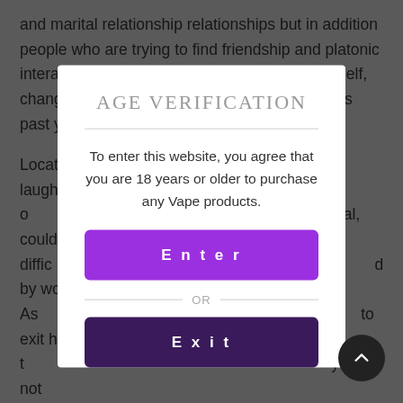and marital relationship relationships but in addition people who are trying to find friendship and platonic interactions. Hinge at some point received myself, changing in my favorite relationship method this past year.

Locating ... two laughs o... al, could be diffic... d by work. As ... to exit hoping t... y are not met... le bit selection...

Is consid... 12 gender i... can outline y... so, who ... np... into a lo... sh to
[Figure (other): Age verification modal dialog with title 'AGE VERIFICATION', body text 'To enter this website, you agree that you are 18 years or older to purchase any Vape products.', a purple 'Enter' button, an 'OR' divider, and a dark purple 'Exit' button.]